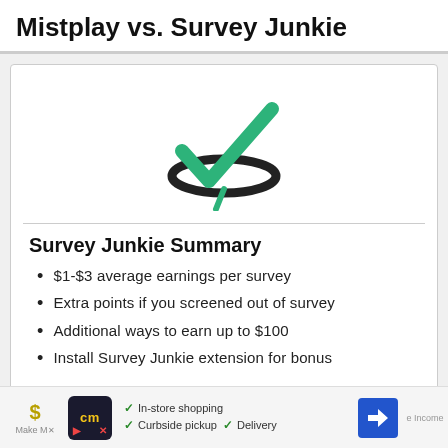Mistplay vs. Survey Junkie
[Figure (logo): Survey Junkie logo: green checkmark with black elliptical orbit swoosh]
Survey Junkie Summary
$1-$3 average earnings per survey
Extra points if you screened out of survey
Additional ways to earn up to $100
Install Survey Junkie extension for bonus
Rating
[Figure (infographic): Advertisement bar at bottom: dollar sign, cm logo, in-store shopping, curbside pickup, delivery options, navigation icon]